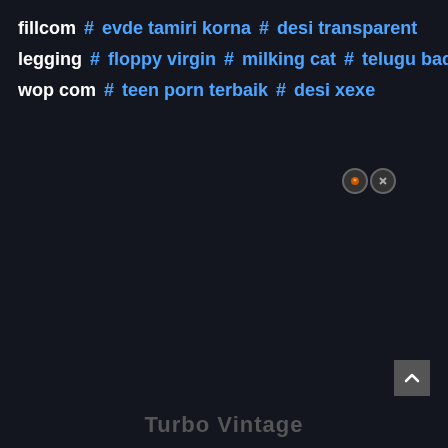fillcom  # evde tamiri korna  # desi transparent
legging  # floppy virgin  # milking cat  # telugu bad
wop com  # teen porn terbaik  # desi xexe
[Figure (other): Small ad close icon with two circles]
[Figure (other): Scroll to top button arrow up]
Turbo Vintage